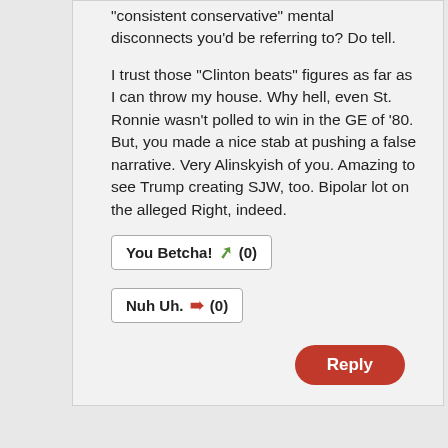"consistent conservative" mental disconnects you'd be referring to? Do tell.
I trust those "Clinton beats" figures as far as I can throw my house. Why hell, even St. Ronnie wasn't polled to win in the GE of '80. But, you made a nice stab at pushing a false narrative. Very Alinskyish of you. Amazing to see Trump creating SJW, too. Bipolar lot on the alleged Right, indeed.